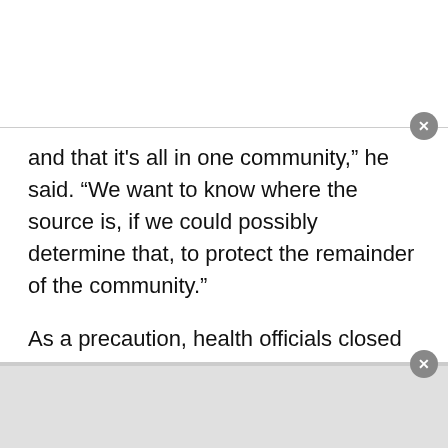and that it's all in one community,” he said. “We want to know where the source is, if we could possibly determine that, to protect the remainder of the community.”
As a precaution, health officials closed two swimming pools and two hot tubs, potential origins of the disease, at the park.
Citing privacy concerns, the Health Department didn’t release the identities or genders of the victims. The president of the residents’ association said the victim who died was a man.